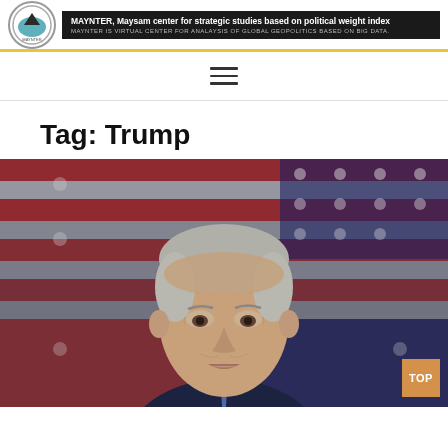MAYNTER, Maysam center for strategic studies based on political weight index. MAYNTER IS VIRTUAL CENTER FOR ANALAYSIS OF GLOBAL GEOPOLITICS BASED ON BIG DATA.
Tag: Trump
[Figure (photo): Photo of Joe Biden speaking in front of an American flag background]